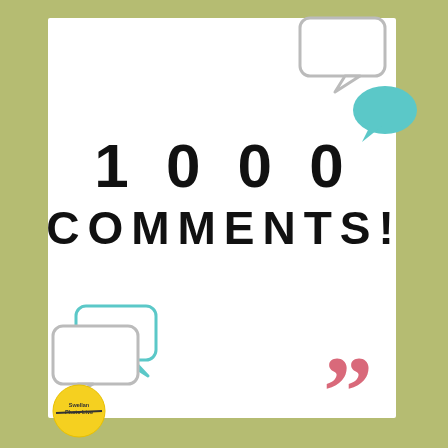[Figure (illustration): Olive/yellow-green border framing a white rectangle with speech bubble icons (grey outline and teal filled) in top-right and bottom-left corners, pink quotation marks in bottom-right, and a small circular logo in bottom-left corner.]
1000 COMMENTS!